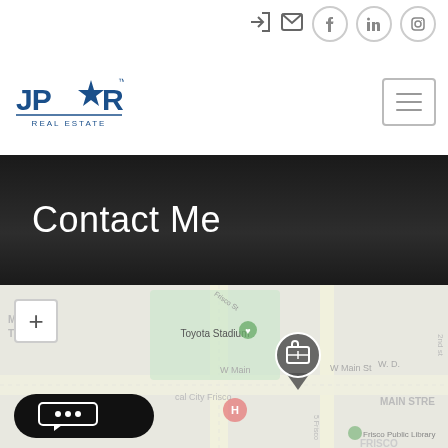[Figure (logo): JPAR Real Estate logo in blue]
[Figure (screenshot): Navigation icons: sign-in, email, Facebook, LinkedIn, Instagram]
[Figure (screenshot): Hamburger menu button]
Contact Me
[Figure (map): Google Maps showing Frisco, TX area with Toyota Stadium, W Main St, Frisco Public Library, and a business location pin marker near W Main]